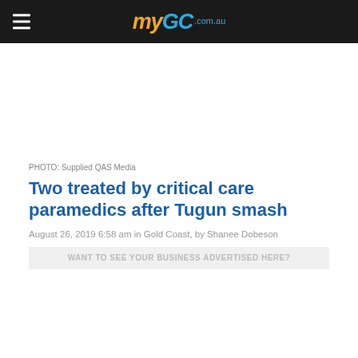myGC.com.au
PHOTO: Supplied QAS Media
Two treated by critical care paramedics after Tugun smash
August 26, 2019 6:58 am in Gold Coast, by Shanee Dobeson
WANT TO SEE YOUR BUSINESS ADVERTISED HERE?